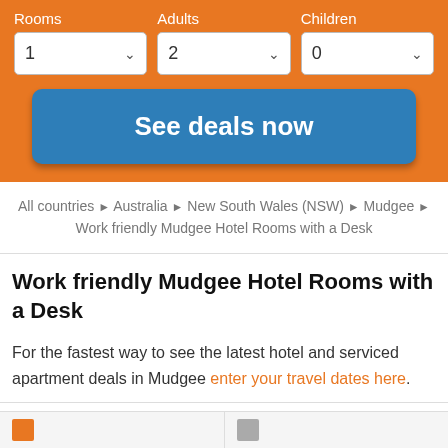[Figure (screenshot): Hotel search form with orange background. Three dropdowns: Rooms=1, Adults=2, Children=0. Blue 'See deals now' button.]
All countries ▶ Australia ▶ New South Wales (NSW) ▶ Mudgee ▶ Work friendly Mudgee Hotel Rooms with a Desk
Work friendly Mudgee Hotel Rooms with a Desk
For the fastest way to see the latest hotel and serviced apartment deals in Mudgee enter your travel dates here.